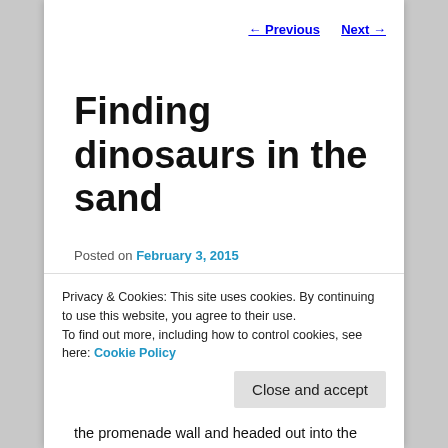← Previous   Next →
Finding dinosaurs in the sand
Posted on February 3, 2015
What did you do this Sunday?  We decided to go for a walk around Fairhaven Lake in the bright late January sunshine.  An easy walk for a family of five, especially with scooters in hand, you may even call it a typical Sunday.
Privacy & Cookies: This site uses cookies. By continuing to use this website, you agree to their use.
To find out more, including how to control cookies, see here: Cookie Policy
the promenade wall and headed out into the estuary.